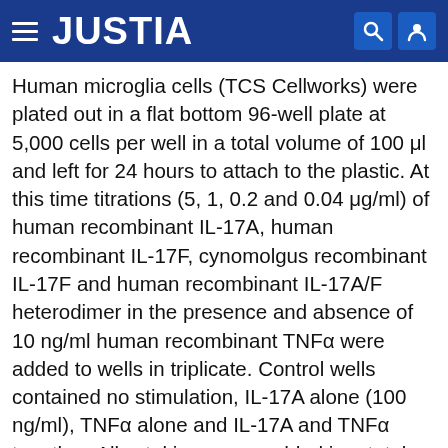JUSTIA
Human microglia cells (TCS Cellworks) were plated out in a flat bottom 96-well plate at 5,000 cells per well in a total volume of 100 μl and left for 24 hours to attach to the plastic. At this time titrations (5, 1, 0.2 and 0.04 μg/ml) of human recombinant IL-17A, human recombinant IL-17F, cynomolgus recombinant IL-17F and human recombinant IL-17A/F heterodimer in the presence and absence of 10 ng/ml human recombinant TNFα were added to wells in triplicate. Control wells contained no stimulation, IL-17A alone (100 ng/ml), TNFα alone and IL-17A and TNFα together. All cytokines were added in a total volume of 110 μl/well, making the total well volume 210 μl. In experiments involving antibodies, cells were plated out in the same way. After 24 hours antibodies and cytokines were added at the same time to give the stated final concentrations in a total final volume of 200 μl